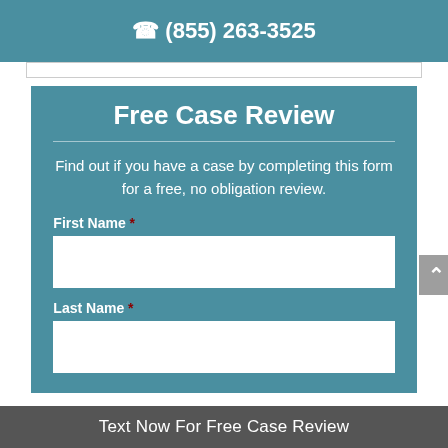(855) 263-3525
Free Case Review
Find out if you have a case by completing this form for a free, no obligation review.
First Name *
Last Name *
Text Now For Free Case Review